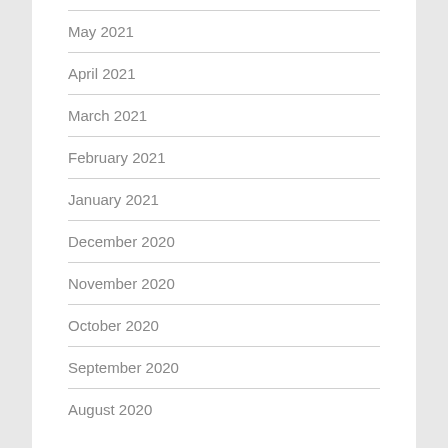May 2021
April 2021
March 2021
February 2021
January 2021
December 2020
November 2020
October 2020
September 2020
August 2020